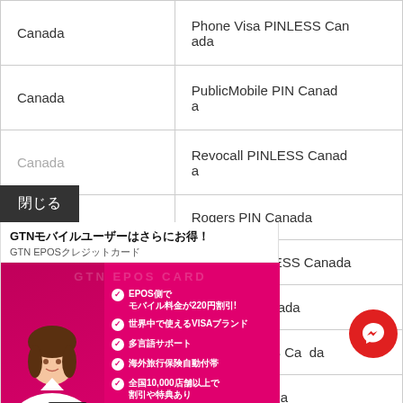| Country | Product |
| --- | --- |
| Canada | Phone Visa PINLESS Canada |
| Canada | PublicMobile PIN Canada |
| Canada | Revocall PINLESS Canada |
|  | Rogers PIN Canada |
|  | Subway PINLESS Canada |
|  | Telus PIN Canada |
|  | Ultra PINLESS Canada |
|  | Virgin PIN Canada |
| Cape Verde | CV Movel Cape Verde |
[Figure (screenshot): Overlay popup panel with close button (閉じる), GTN mobile card advertisement banner in Japanese with woman photo, EPOS card benefits list, and card application footer with 永年無料 (free annual fee) offer]
[Figure (other): Red circular Messenger chat button in bottom right]